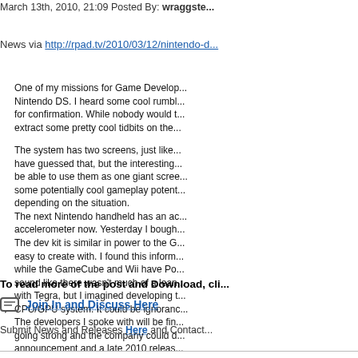March 13th, 2010, 21:09 Posted By: wraggste...
News via http://rpad.tv/2010/03/12/nintendo-d...
One of my missions for Game Develop... Nintendo DS. I heard some cool rumbl... for confirmation. While nobody would t... extract some pretty cool tidbits on the...
The system has two screens, just like... have guessed that, but the interesting... be able to use them as one giant scree... some potentially cool gameplay potent... depending on the situation. The next Nintendo handheld has an a... accelerometer now. Yesterday I bough... The dev kit is similar in power to the G... easy to create with. I found this inform... while the GameCube and Wii have Po... sound like there wasn't much of a lean... with Tegra, but I imagined developing t... CPU/GPU system. It could be ignoranc... The developers I spoke with will be fin... going strong and the company could d... announcement and a late 2010 releas... That's all I have for now. Remember, r... claim to be working on the new system... people that knew I was looking for DS2... mess with the guy trying to dig up Nint...
To read more of the post and Download, cli...
Join In and Discuss Here
Submit News and Releases Here and Contact...